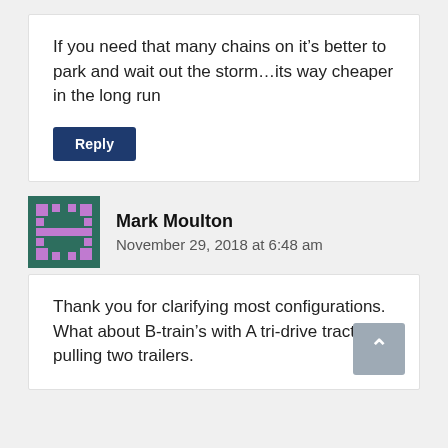If you need that many chains on it’s better to park and wait out the storm…its way cheaper in the long run
Reply
Mark Moulton
November 29, 2018 at 6:48 am
Thank you for clarifying most configurations. What about B-train’s with A tri-drive tractor pulling two trailers.